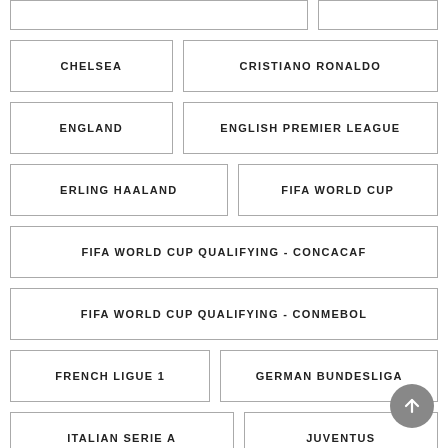CHELSEA
CRISTIANO RONALDO
ENGLAND
ENGLISH PREMIER LEAGUE
ERLING HAALAND
FIFA WORLD CUP
FIFA WORLD CUP QUALIFYING - CONCACAF
FIFA WORLD CUP QUALIFYING - CONMEBOL
FRENCH LIGUE 1
GERMAN BUNDESLIGA
ITALIAN SERIE A
JUVENTUS
KYLIAN MBAPPÉ
LEEDS UNITED